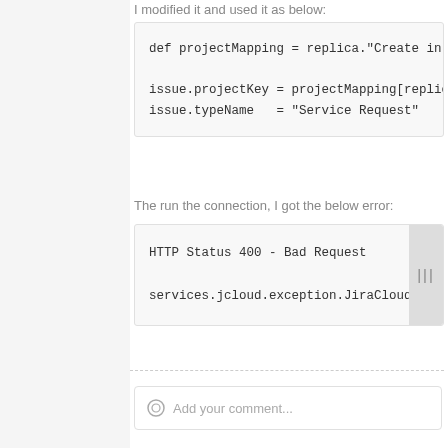I modified it and used it as below:
def projectMapping = replica."Create in the"

issue.projectKey = projectMapping[replica.p
issue.typeName   = "Service Request"
The run the connection, I got the below error:
HTTP Status 400 - Bad Request

services.jcloud.exception.JiraCloudTrackerE
Add your comment...
Iona Augustine • Jul 06, 2021